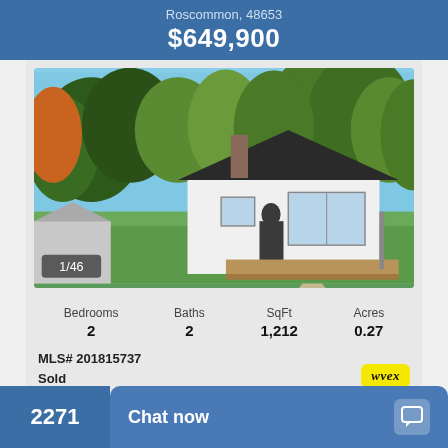Roscommon, 48653
$649,900
[Figure (photo): Exterior photo of a white cottage-style house with dark roof, large windows, wooden deck, green lawn, and tall trees in background. Shows image counter 1/46.]
| Bedrooms | Baths | SqFt | Acres |
| --- | --- | --- | --- |
| 2 | 2 | 1,212 | 0.27 |
MLS# 201815737
Sold
Chat now
2271